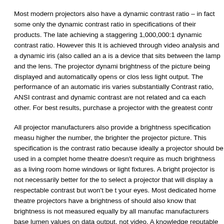Most modern projectors also have a dynamic contrast ratio – in fact some only the dynamic contrast ratio in specifications of their products. The late achieving a staggering 1,000,000:1 dynamic contrast ratio. However this It is achieved through video analysis and a dynamic iris (also called an a is a device that sits between the lamp and the lens. The projector dynam brightness of the picture being displayed and automatically opens or clos less light output. The performance of an automatic iris varies substantially Contrast ratio, ANSI contrast and dynamic contrast are not related and c each other. For best results, purchase a projector with the greatest contr
All projector manufacturers also provide a brightness specification measu higher the number, the brighter the projector picture. This specification is the contrast ratio because ideally a projector should be used in a comple home theatre doesn't require as much brightness as a living room home windows or light fixtures. A bright projector is not necessarily better for th to select a projector that will display a respectable contrast but won't be t your eyes. Most dedicated home theatre projectors have a brightness of should also know that brightness is not measured equally by all manufac manufacturers base lumen values on data output, not video. A knowledge reputable store will steer you towards the best brightness for your lighting